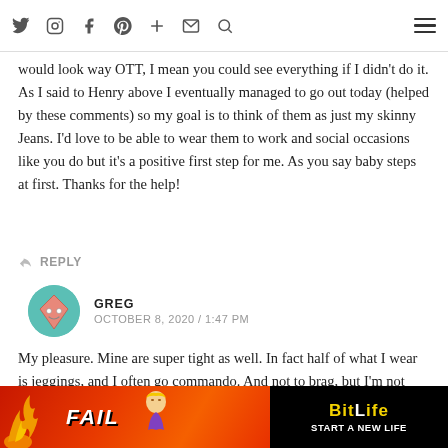Navigation bar with social icons and hamburger menu
would look way OTT, I mean you could see everything if I didn't do it. As I said to Henry above I eventually managed to go out today (helped by these comments) so my goal is to think of them as just my skinny Jeans. I'd love to be able to wear them to work and social occasions like you do but it's a positive first step for me. As you say baby steps at first. Thanks for the help!
↩ REPLY
GREG
OCTOBER 8, 2020 / 1:47 PM
My pleasure. Mine are super tight as well. In fact half of what I wear is jeggings, and I often go commando. And not to brag, but I'm not exactly small down there. But I'm off the mindset that if they're offended….. then they were looking somewhere maybe they shouldn't have been. Good luck. You've got a great start I think.
[Figure (other): BitLife advertisement banner with FAIL text and 'START A NEW LIFE' tagline on dark background]